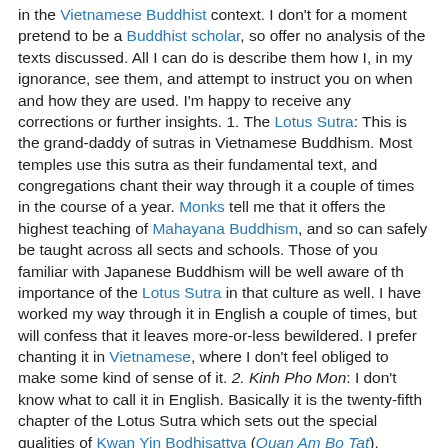in the Vietnamese Buddhist context. I don't for a moment pretend to be a Buddhist scholar, so offer no analysis of the texts discussed. All I can do is describe them how I, in my ignorance, see them, and attempt to instruct you on when and how they are used. I'm happy to receive any corrections or further insights. 1. The Lotus Sutra: This is the grand-daddy of sutras in Vietnamese Buddhism. Most temples use this sutra as their fundamental text, and congregations chant their way through it a couple of times in the course of a year. Monks tell me that it offers the highest teaching of Mahayana Buddhism, and so can safely be taught across all sects and schools. Those of you familiar with Japanese Buddhism will be well aware of th importance of the Lotus Sutra in that culture as well. I have worked my way through it in English a couple of times, but will confess that it leaves more-or-less bewildered. I prefer chanting it in Vietnamese, where I don't feel obliged to make some kind of sense of it. 2. Kinh Pho Mon: I don't know what to call it in English. Basically it is the twenty-fifth chapter of the Lotus Sutra which sets out the special qualities of Kwan Yin Bodhisattva (Quan Am Bo Tat). Because of the great reverence Vietnamese Buddhists have for the Goddess of Mercy, this chapter is often printed as a